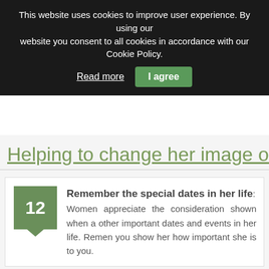This website uses cookies to improve user experience. By using our website you consent to all cookies in accordance with our Cookie Policy.
Read more | I agree
Helping to change her image of yo
12 Remember the special dates in her life: Women appreciate the consideration shown when a other important dates and events in her life. Remen you show her how important she is to you.
13 Remember other facts about her: Her favorite song, color or something you know she doing something spontaneous that shows that you a this is to get a customized CD that contains her favo